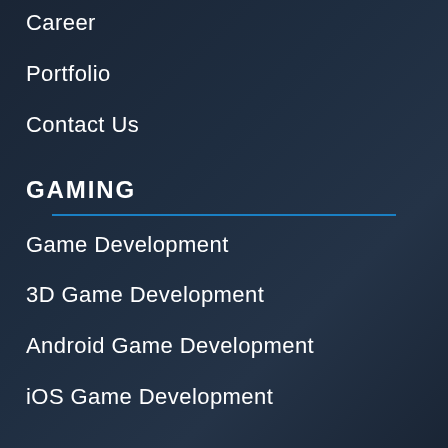Career
Portfolio
Contact Us
GAMING
Game Development
3D Game Development
Android Game Development
iOS Game Development
BLOG
Game Design